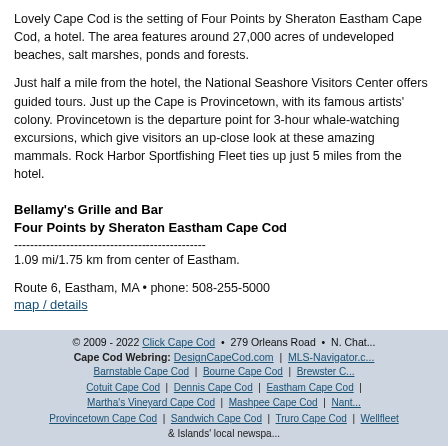Lovely Cape Cod is the setting of Four Points by Sheraton Eastham Cape Cod, a hotel. The area features around 27,000 acres of undeveloped beaches, salt marshes, ponds and forests.
Just half a mile from the hotel, the National Seashore Visitors Center offers guided tours. Just up the Cape is Provincetown, with its famous artists' colony. Provincetown is the departure point for 3-hour whale-watching excursions, which give visitors an up-close look at these amazing mammals. Rock Harbor Sportfishing Fleet ties up just 5 miles from the hotel.
Bellamy's Grille and Bar
Four Points by Sheraton Eastham Cape Cod
------------------------------------------------
1.09 mi/1.75 km from center of Eastham.
Route 6, Eastham, MA • phone: 508-255-5000
map / details
© 2009 - 2022 Click Cape Cod • 279 Orleans Road • N. Chatham
Cape Cod Webring: DesignCapeCod.com | MLS-Navigator.c...
Barnstable Cape Cod | Bourne Cape Cod | Brewster C...
Cotuit Cape Cod | Dennis Cape Cod | Eastham Cape Cod |
Martha's Vineyard Cape Cod | Mashpee Cape Cod | Nant...
Provincetown Cape Cod | Sandwich Cape Cod | Truro Cape Cod | Wellfleet
& Islands' local newspa...